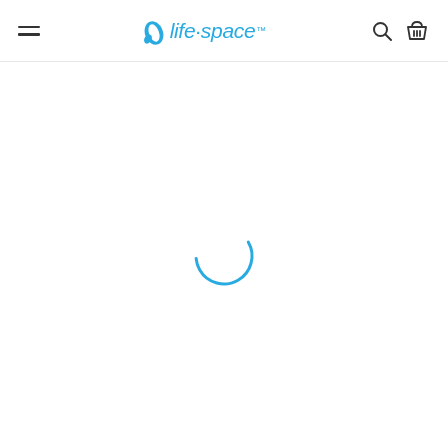life-space website header with navigation
[Figure (other): Loading spinner — a partial circle arc in blue, indicating page content is loading]